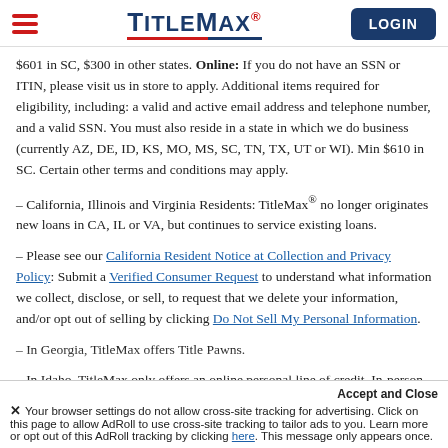TitleMax – hamburger menu and LOGIN button
$601 in SC, $300 in other states. Online: If you do not have an SSN or ITIN, please visit us in store to apply. Additional items required for eligibility, including: a valid and active email address and telephone number, and a valid SSN. You must also reside in a state in which we do business (currently AZ, DE, ID, KS, MO, MS, SC, TN, TX, UT or WI). Min $610 in SC. Certain other terms and conditions may apply.
– California, Illinois and Virginia Residents: TitleMax® no longer originates new loans in CA, IL or VA, but continues to service existing loans.
– Please see our California Resident Notice at Collection and Privacy Policy: Submit a Verified Consumer Request to understand what information we collect, disclose, or sell, to request that we delete your information, and/or opt out of selling by clicking Do Not Sell My Personal Information.
– In Georgia, TitleMax offers Title Pawns.
– In Idaho, TitleMax only offers an online personal line of credit. In-person
Accept and Close
✕ Your browser settings do not allow cross-site tracking for advertising. Click on this page to allow AdRoll to use cross-site tracking to tailor ads to you. Learn more or opt out of this AdRoll tracking by clicking here. This message only appears once.